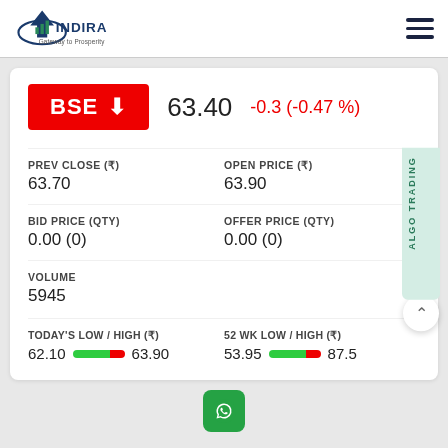[Figure (logo): Indira Securities logo with text 'INDIRA Gateway to Prosperity' and upward arrow graphic]
BSE ↓ 63.40 -0.3 (-0.47 %)
PREV CLOSE (₹)
63.70
OPEN PRICE (₹)
63.90
BID PRICE (QTY)
0.00 (0)
OFFER PRICE (QTY)
0.00 (0)
VOLUME
5945
TODAY'S LOW / HIGH (₹)
62.10 [bar] 63.90
52 WK LOW / HIGH (₹)
53.95 [bar] 87.5